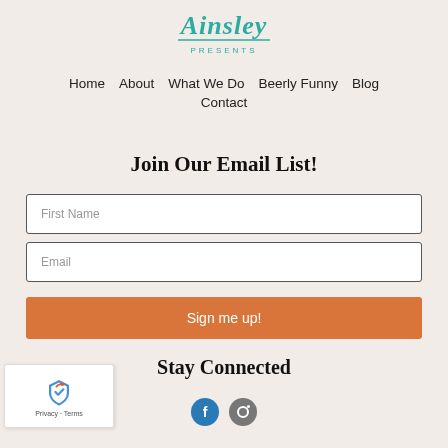[Figure (logo): Ainsley Presents logo with teal cursive script text and 'Presents' in small caps below, with decorative underline]
Home   About   What We Do   Beerly Funny   Blog   Contact
Join Our Email List!
First Name
Email
Sign me up!
Stay Connected
[Figure (other): reCAPTCHA widget with recycling arrow icon and Privacy - Terms text]